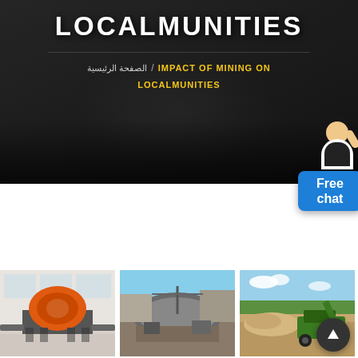LOCALMUNITIES
الصفحة الرئيسية / IMPACT OF MINING ON LOCALMUNITIES
[Figure (illustration): Free chat widget with a customer service representative and a blue chat button]
[Figure (photo): Three side-by-side photos of mining and industrial equipment: (1) orange crusher machine in an industrial hall, (2) large industrial facility with excavation equipment, (3) green mobile crushing machine at an open-pit mine site]